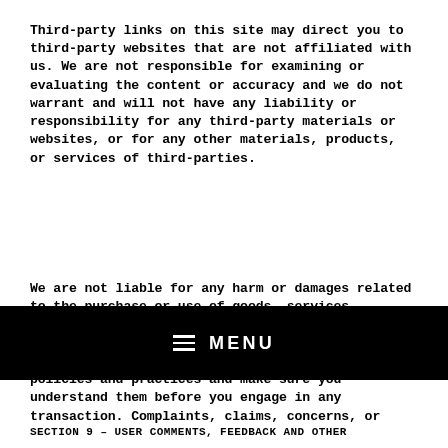Third-party links on this site may direct you to third-party websites that are not affiliated with us. We are not responsible for examining or evaluating the content or accuracy and we do not warrant and will not have any liability or responsibility for any third-party materials or websites, or for any other materials, products, or services of third-parties.
We are not liable for any harm or damages related to the purchase or use of goods, services, resources, content, or any other transactions made in connection with any third-party websites. Please review carefully the third-party's policies and practices and make sure you understand them before you engage in any transaction. Complaints, claims, concerns, or
SECTION 9 – USER COMMENTS, FEEDBACK AND OTHER